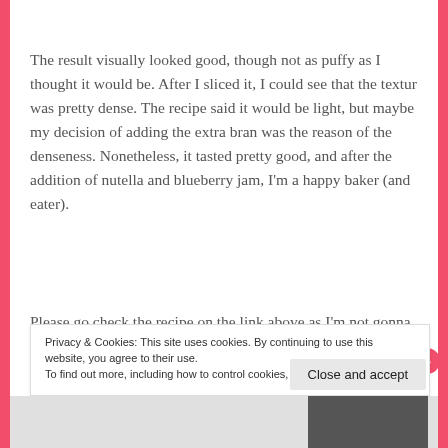The result visually looked good, though not as puffy as I thought it would be. After I sliced it, I could see that the textur was pretty dense. The recipe said it would be light, but maybe my decision of adding the extra bran was the reason of the denseness. Nonetheless, it tasted pretty good, and after the addition of nutella and blueberry jam, I'm a happy baker (and eater).
Please go check the recipe on the link above as I'm not gonna post it here. It's not my recipe, and I did nothing to
Privacy & Cookies: This site uses cookies. By continuing to use this website, you agree to their use.
To find out more, including how to control cookies, see here: Cookie Policy
Close and accept